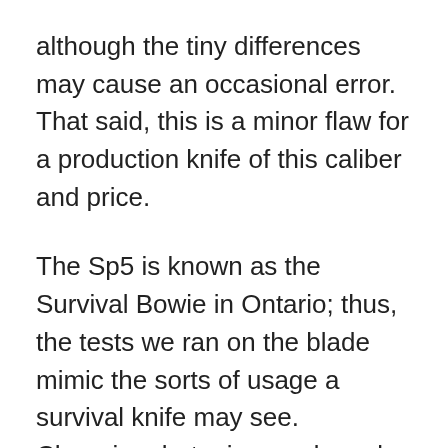although the tiny differences may cause an occasional error. That said, this is a minor flaw for a production knife of this caliber and price.
The Sp5 is known as the Survival Bowie in Ontario; thus, the tests we ran on the blade mimic the sorts of usage a survival knife may see. Chopping, batoning, and meal preparation were among the tasks.
When it comes to a discount chopper, survival, or camp knife like the Sp5, the prevalent idea is that if it comes with a